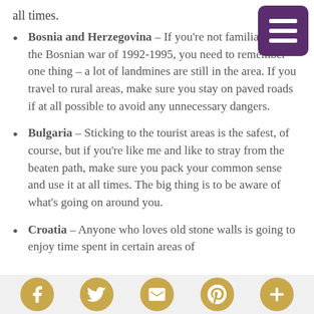all times.
Bosnia and Herzegovina – If you're not familiar with the Bosnian war of 1992-1995, you need to remember one thing – a lot of landmines are still in the area. If you travel to rural areas, make sure you stay on paved roads if at all possible to avoid any unnecessary dangers.
Bulgaria – Sticking to the tourist areas is the safest, of course, but if you're like me and like to stray from the beaten path, make sure you pack your common sense and use it at all times. The big thing is to be aware of what's going on around you.
Croatia – Anyone who loves old stone walls is going to enjoy time spent in certain areas of
Social media icons: Facebook, Twitter, Email, Pinterest, More